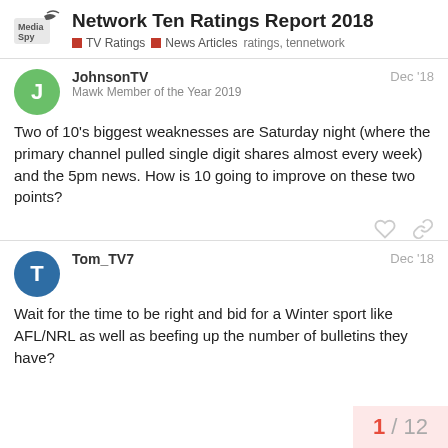Network Ten Ratings Report 2018 | TV Ratings | News Articles | ratings, tennetwork
JohnsonTV — Mawk Member of the Year 2019 — Dec '18
Two of 10's biggest weaknesses are Saturday night (where the primary channel pulled single digit shares almost every week) and the 5pm news. How is 10 going to improve on these two points?
Tom_TV7 — Dec '18
Wait for the time to be right and bid for a Winter sport like AFL/NRL as well as beefing up the number of bulletins they have?
1 / 12